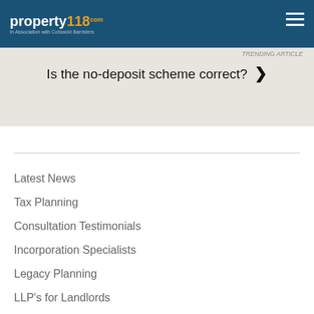property118.com — In Association with Cotswold Barristers
TRENDING ARTICLE
Is the no-deposit scheme correct? ❯
Latest News
Tax Planning
Consultation Testimonials
Incorporation Specialists
Legacy Planning
LLP's for Landlords
Introducer Affiliates
Terms & Conditions
Privacy Policy
Cookie Policy